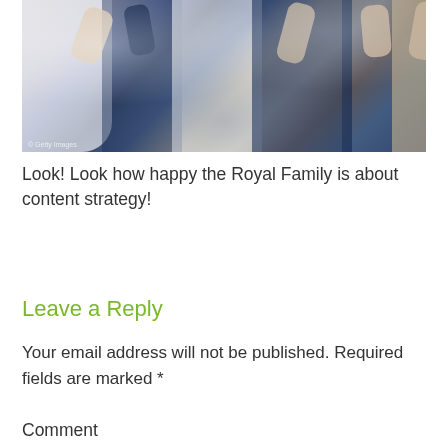[Figure (photo): Group of people celebrating with raised fists, appearing to be at a sporting event. Some wear Team GB navy uniforms and white outfits with lanyards/accreditations. Photo watermark reads '© Getty Images'.]
Look! Look how happy the Royal Family is about content strategy!
Leave a Reply
Your email address will not be published. Required fields are marked *
Comment